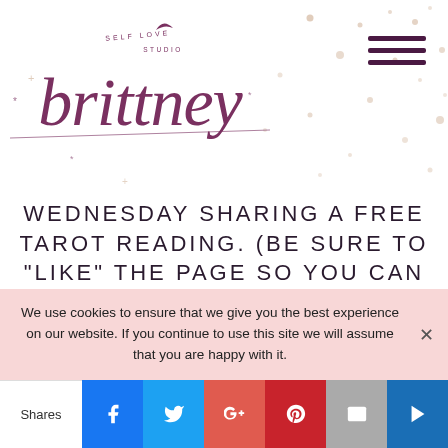brittney (Self Love Studio logo with moon and stars)
WEDNESDAY SHARING A FREE TAROT READING. (BE SURE TO "LIKE" THE PAGE SO YOU CAN RECEIVE INSTANT NOTIFICATIONS OF WHEN I GO LIVE.)
Interested in a 1:1 reading with Brit?
We use cookies to ensure that we give you the best experience on our website. If you continue to use this site we will assume that you are happy with it.
Shares